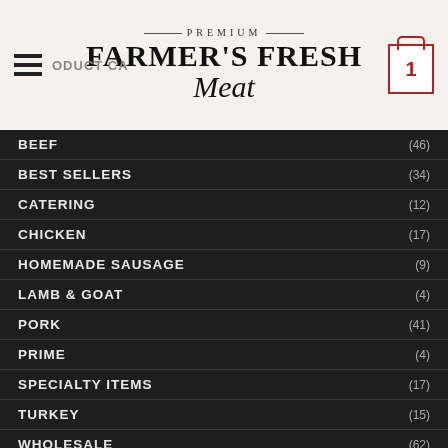PREMIUM FARMER'S FRESH Meat
BEEF (46)
BEST SELLERS (34)
CATERING (12)
CHICKEN (17)
HOMEMADE SAUSAGE (9)
LAMB & GOAT (4)
PORK (41)
PRIME (4)
SPECIALTY ITEMS (17)
TURKEY (15)
WHOLESALE (62)